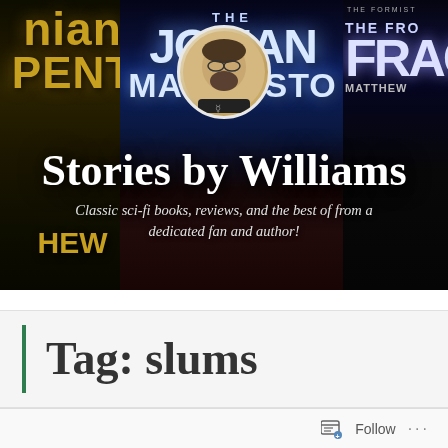[Figure (photo): Blog header image showing three sci-fi book covers as background (left: partial cover with 'PENT' text in gold, center: 'The Jovian Manifesto' cover with space/asteroid scene, right: partial cover 'THE FORMIST THE FRO... FRAC...' by Matthew). A circular avatar photo of a bearded man with glasses in a black t-shirt is overlaid on the center. Over the books are overlaid white text 'Stories by Williams' and italic subtitle 'Classic sci-fi books, reviews, and the best of from a dedicated fan and author!']
Stories by Williams
Classic sci-fi books, reviews, and the best of from a dedicated fan and author!
Tag: slums
Follow ···